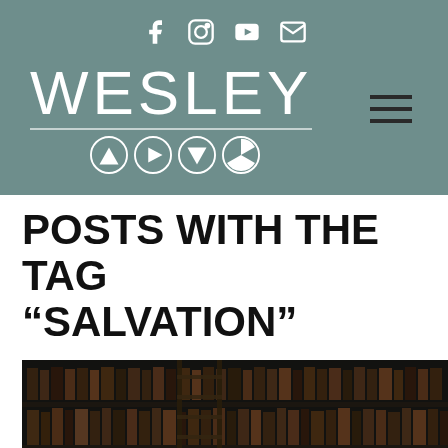Wesley AVOD — social icons: Facebook, Instagram, YouTube, Email
[Figure (logo): Wesley logo with large white sans-serif lettering and four geometric shape icons below (triangle up, play button, triangle down, circle with segments), on a muted teal/green-grey background, with hamburger menu icon on the right]
POSTS WITH THE TAG “SALVATION”
[Figure (photo): Dark photograph of old library bookshelves with a wooden ladder leaning against them, filled with aged leather-bound books]